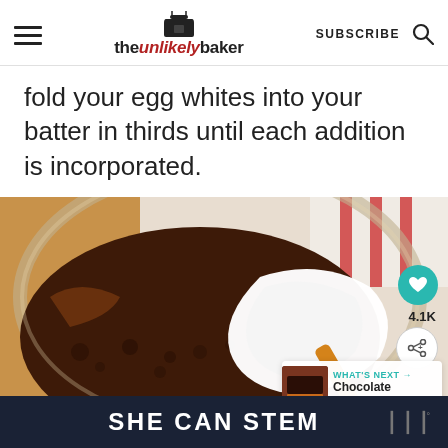theunlikelybaker — SUBSCRIBE
fold your egg whites into your batter in thirds until each addition is incorporated.
[Figure (photo): A glass bowl containing dark chocolate batter with white whipped egg whites being folded in, on a wooden surface with a red-striped towel in the background. Overlay UI shows a teal heart icon, 4.1K likes, a share icon, and a 'WHAT'S NEXT' card showing 'Chocolate Cake with...']
SHE CAN STEM